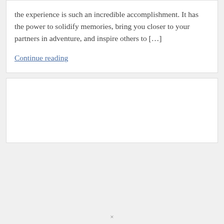the experience is such an incredible accomplishment. It has the power to solidify memories, bring you closer to your partners in adventure, and inspire others to […]
Continue reading
[Figure (other): Empty white card/box placeholder]